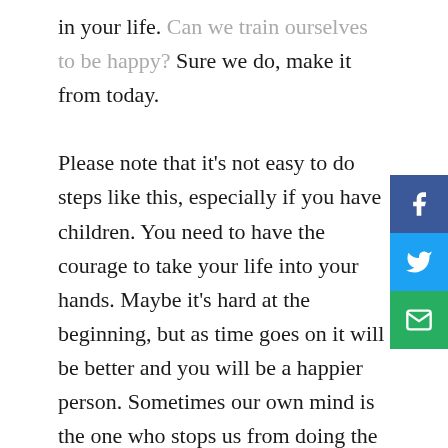in your life. Can we train ourselves to be happy? Sure we do, make it from today.

Please note that it's not easy to do steps like this, especially if you have children. You need to have the courage to take your life into your hands. Maybe it's hard at the beginning, but as time goes on it will be better and you will be a happier person. Sometimes our own mind is the one who stops us from doing the correct thing. Don't let the fear overwhelm you. You are brave enough to fight for yourself and for the people you love. Give yourself a chance to live a happy life, because you deserve that. Always be a friend to yourself and always love yourself first. That's how you are